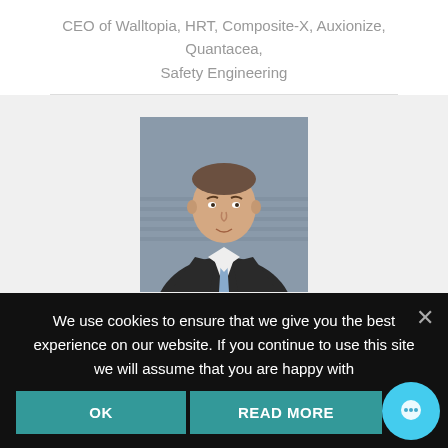CEO of Walltopia, HRT, Composite-X, Auxionize, Quantacea, Safety Engineering
[Figure (photo): Professional headshot of a man in a dark suit with a light blue tie, standing in front of a modern architectural background]
Over the past year GymRealm has worked with Sodexo on new service development. We highly appreciate GymRealm's professional team and ability to paid close
We use cookies to ensure that we give you the best experience on our website. If you continue to use this site we will assume that you are happy with
OK
READ MORE